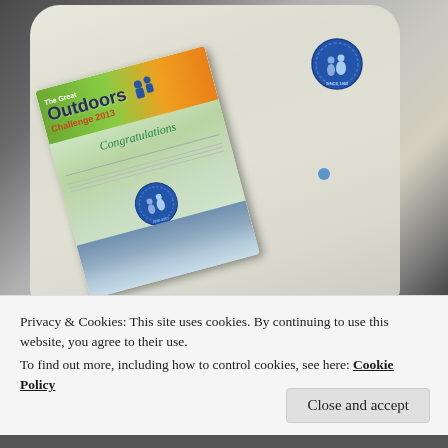[Figure (photo): A white long-sleeve t-shirt laid flat on a dark surface, with a circular blue logo on the chest. On top of the shirt is a Great Outdoors Challenge 2013 certificate/booklet with green and orange cover showing 'Congratulations', a circular emblem, and a signed certificate inside.]
Privacy & Cookies: This site uses cookies. By continuing to use this website, you agree to their use.
To find out more, including how to control cookies, see here: Cookie Policy
Close and accept